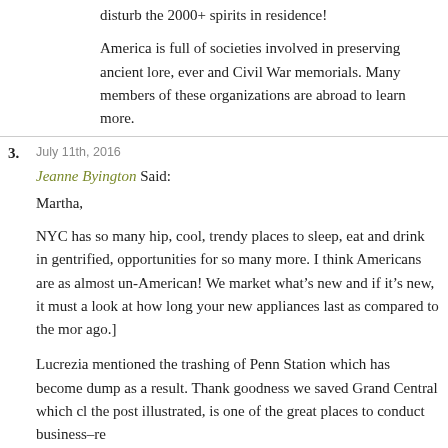disturb the 2000+ spirits in residence!
America is full of societies involved in preserving ancient lore, ever and Civil War memorials. Many members of these organizations are abroad to learn more.
3. July 11th, 2016
Jeanne Byington Said:
Martha,

NYC has so many hip, cool, trendy places to sleep, eat and drink in gentrified, opportunities for so many more. I think Americans are as almost un-American! We market what’s new and if it’s new, it must a look at how long your new appliances last as compared to the mor ago.]

Lucrezia mentioned the trashing of Penn Station which has become dump as a result. Thank goodness we saved Grand Central which cl the post illustrated, is one of the great places to conduct business–re

This “toss the old, who cares, and on with the new” approach is sym year business plan. Business moves at warp speed with the Internet a which doesn’t mean a company shouldn’t plan. In fact it should do s often.
4.